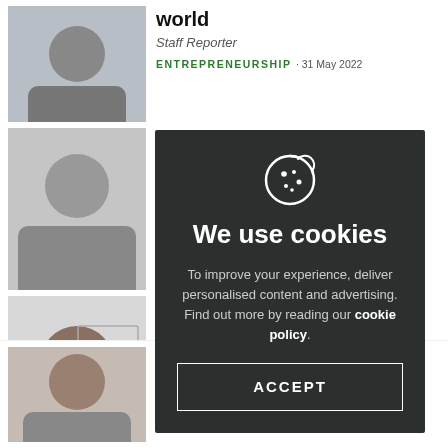world
Staff Reporter
ENTREPRENEURSHIP · 31 May 2022
es
t your
[Figure (screenshot): Cookie consent modal overlay on a website. Shows cookie icon, title 'We use cookies', body text about improving experience and personalised content/advertising, with a link to cookie policy and an ACCEPT button.]
Ivor Price
ENTREPRENEURSHIP · 24 May 2022